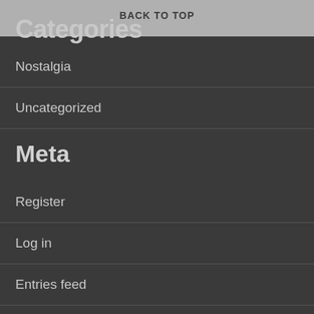BACK TO TOP
Categories
Nostalgia
Uncategorized
Meta
Register
Log in
Entries feed
Comments feed